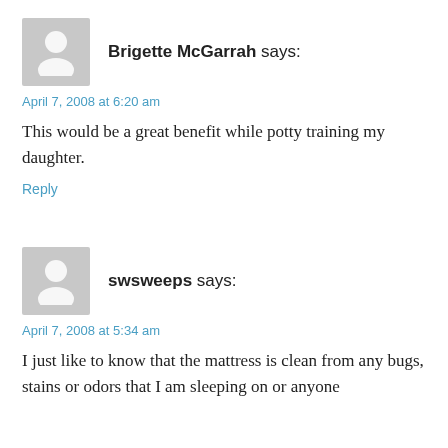[Figure (illustration): Grey placeholder avatar silhouette icon for user Brigette McGarrah]
Brigette McGarrah says:
April 7, 2008 at 6:20 am
This would be a great benefit while potty training my daughter.
Reply
[Figure (illustration): Grey placeholder avatar silhouette icon for user swsweeps]
swsweeps says:
April 7, 2008 at 5:34 am
I just like to know that the mattress is clean from any bugs, stains or odors that I am sleeping on or anyone